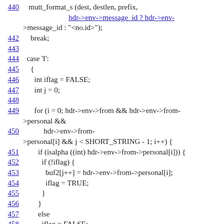440  mutt_format_s (dest, destlen, prefix, hdr->env->message_id ? hdr->env->message_id : "<no.id>");
442    break;
443
444  case 'I':
445    {
446      int iflag = FALSE;
447      int j = 0;
448
449      for (i = 0; hdr->env->from && hdr->env->from->personal &&
450          hdr->env->from->personal[i] && j < SHORT_STRING - 1; i++) {
451        if (isalpha ((int) hdr->env->from->personal[i]) {
452          if (!iflag) {
453            buf2[j++] = hdr->env->from->personal[i];
454            iflag = TRUE;
455          }
456        }
457        else
458          iflag = FALSE;
459      }
460
461      buf2[j] = '\0';